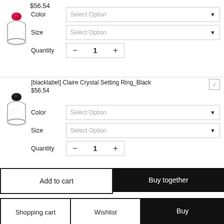$56.54
[Figure (photo): Red crystal solitaire ring on silver band]
Color  Select Option
Size  Select Option
Quantity  – 1 +
[blacklabel] Claire Crystal Setting Ring_Black
$56.54
[Figure (photo): Black crystal solitaire ring on silver band]
Color  Select Option
Size  Select Option
Quantity  – 1 +
Add to cart
Buy together
Shopping cart
Wishlist
Buy